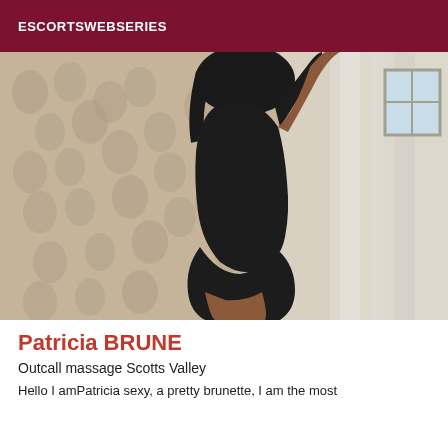ESCORTSWEBSERIES
[Figure (photo): A woman in a black bodysuit photographed from behind/side in a room with patterned wallpaper and white curtains]
Patricia BRUNE
Outcall massage Scotts Valley
Hello I amPatricia sexy, a pretty brunette, I am the most